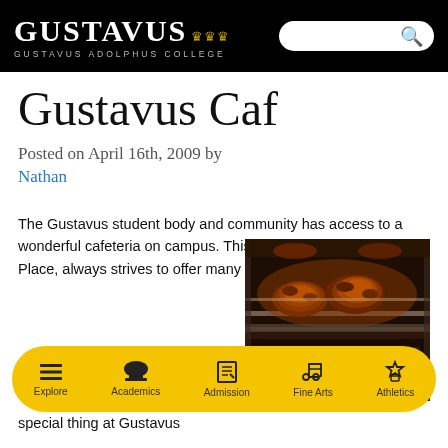GUSTAVUS 👑👑👑 GUSTAVUS ADOLPHUS COLLEGE
Gustavus Caf
Posted on April 16th, 2009 by Nathan
The Gustavus student body and community has access to a wonderful cafeteria on campus. This cafeteria, called the Market Place, always strives to offer many different food choices for its
[Figure (photo): Photo of roasted meat/chicken on a rotisserie spit in a cafeteria warming display]
special thing at Gustavus